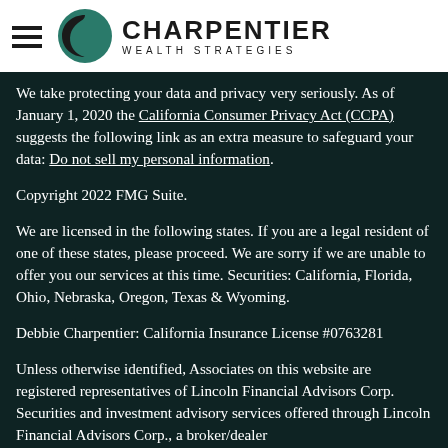Charpentier Wealth Strategies
We take protecting your data and privacy very seriously. As of January 1, 2020 the California Consumer Privacy Act (CCPA) suggests the following link as an extra measure to safeguard your data: Do not sell my personal information.
Copyright 2022 FMG Suite.
We are licensed in the following states. If you are a legal resident of one of these states, please proceed. We are sorry if we are unable to offer you our services at this time. Securities: California, Florida, Ohio, Nebraska, Oregon, Texas & Wyoming.
Debbie Charpentier: California Insurance License #0763281
Unless otherwise identified, Associates on this website are registered representatives of Lincoln Financial Advisors Corp. Securities and investment advisory services offered through Lincoln Financial Advisors Corp., a broker/dealer